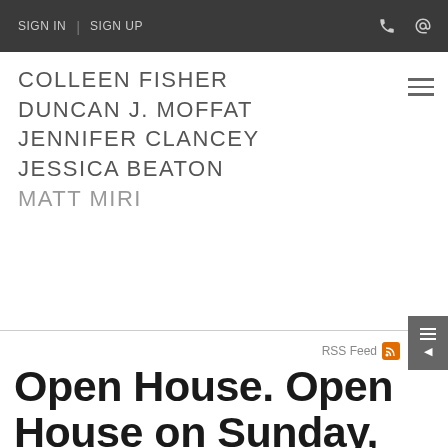SIGN IN | SIGN UP
COLLEEN FISHER
DUNCAN J. MOFFAT
JENNIFER CLANCEY
JESSICA BEATON
MATT MIRI
RSS Feed
Open House. Open House on Sunday, February 24, 2019 2:00PM - 4:00PM .